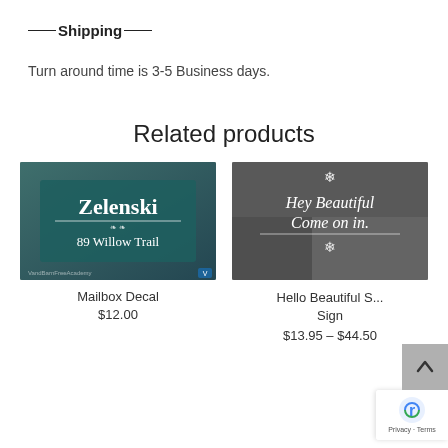—Shipping——
Turn around time is 3-5 Business days.
Related products
[Figure (photo): Product image showing a mailbox decal with text 'Zelenski 89 Willow Trail' on a dark teal background]
Mailbox Decal
$12.00
[Figure (photo): Product image showing a window sign with cursive text 'Hey Beautiful Come on in.' on a blurred store background]
Hello Beautiful S... Sign
$13.95 – $44.50